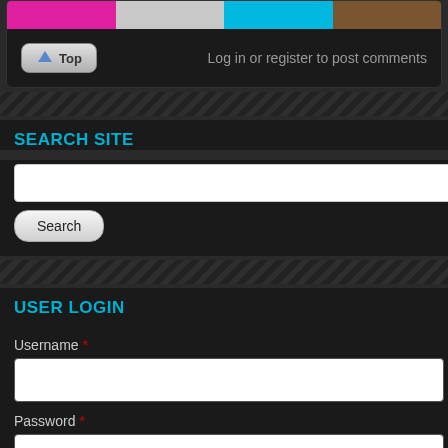[Figure (screenshot): Color palette bar with four color swatches: magenta/pink, light gray, cyan/blue, and brown]
Log in or register to post comments
SEARCH SITE
Search
USER LOGIN
Username *
Password *